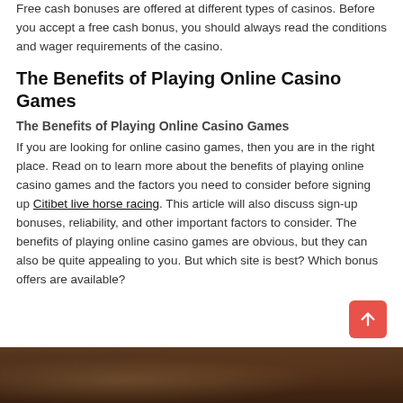Free cash bonuses are offered at different types of casinos. Before you accept a free cash bonus, you should always read the conditions and wager requirements of the casino.
The Benefits of Playing Online Casino Games
The Benefits of Playing Online Casino Games
If you are looking for online casino games, then you are in the right place. Read on to learn more about the benefits of playing online casino games and the factors you need to consider before signing up Citibet live horse racing. This article will also discuss sign-up bonuses, reliability, and other important factors to consider. The benefits of playing online casino games are obvious, but they can also be quite appealing to you. But which site is best? Which bonus offers are available?
[Figure (photo): Partial image of a person at the bottom of the page, dark warm tones]